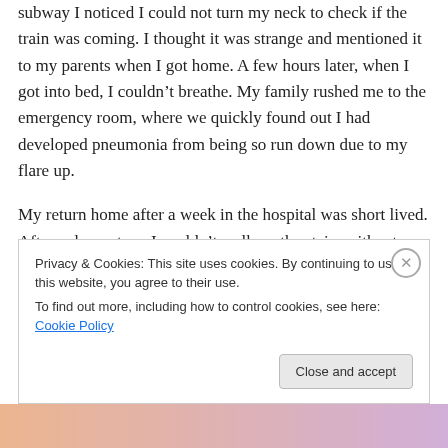subway I noticed I could not turn my neck to check if the train was coming. I thought it was strange and mentioned it to my parents when I got home. A few hours later, when I got into bed, I couldn't breathe. My family rushed me to the emergency room, where we quickly found out I had developed pneumonia from being so run down due to my flare up.
My return home after a week in the hospital was short lived. After a day or two, I couldn't walk up the stairs without getting winded. A quick chest x-ray showed pneumonia in both of my lungs, which we later found out
Privacy & Cookies: This site uses cookies. By continuing to use this website, you agree to their use.
To find out more, including how to control cookies, see here: Cookie Policy